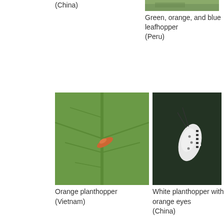(China)
[Figure (photo): Green leafhopper photo (Peru), partially cropped at top]
Green, orange, and blue leafhopper
(Peru)
[Figure (photo): Orange planthopper resting on a green leaf (Vietnam)]
Orange planthopper
(Vietnam)
[Figure (photo): White planthopper with orange eyes against dark background (China)]
White planthopper with orange eyes
(China)
[Figure (photo): Blue planthopper nymph on green leaf with white wax filaments]
[Figure (photo): Small insect with white fluffy wax on dark background]